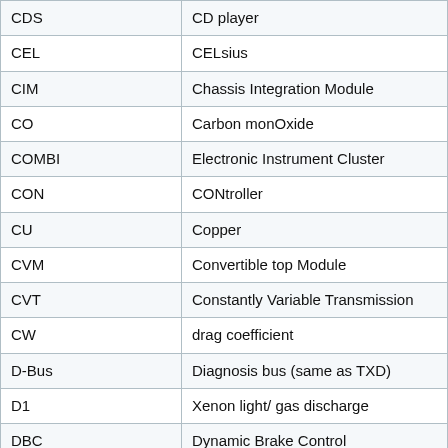| Abbreviation | Meaning |
| --- | --- |
| CDS | CD player |
| CEL | CELsius |
| CIM | Chassis Integration Module |
| CO | Carbon monOxide |
| COMBI | Electronic Instrument Cluster |
| CON | CONtroller |
| CU | Copper |
| CVM | Convertible top Module |
| CVT | Constantly Variable Transmission |
| CW | drag coefficient |
| D-Bus | Diagnosis bus (same as TXD) |
| D1 | Xenon light/ gas discharge |
| DBC | Dynamic Brake Control |
| [Back to the top] (DBS) | Dynamic Braking System |
| DCS | Dealer Communication System |